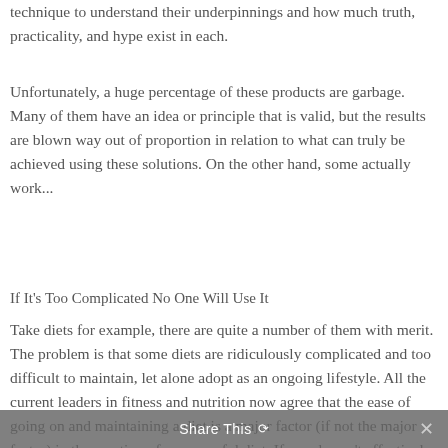technique to understand their underpinnings and how much truth, practicality, and hype exist in each.
Unfortunately, a huge percentage of these products are garbage. Many of them have an idea or principle that is valid, but the results are blown way out of proportion in relation to what can truly be achieved using these solutions. On the other hand, some actually work...
If It's Too Complicated No One Will Use It
Take diets for example, there are quite a number of them with merit.  The problem is that some diets are ridiculously complicated and too difficult to maintain, let alone adopt as an ongoing lifestyle. All the current leaders in fitness and nutrition now agree that the ease of going on and maintaining a diet is a major factor (if not the major factor) in the creation of a successful diet. If people can't effectively start or maintain the
Share This